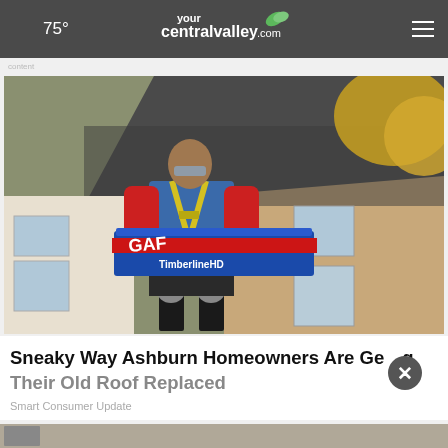75° yourcentralvalley.com
[Figure (photo): A roofer wearing a blue shirt, yellow safety harness, red sleeves and knee pads carrying a box of GAF Timberline HD shingles in front of a house with a dark shingled roof and yellow autumn trees in background.]
Sneaky Way Ashburn Homeowners Are Getting Their Old Roof Replaced
Smart Consumer Update